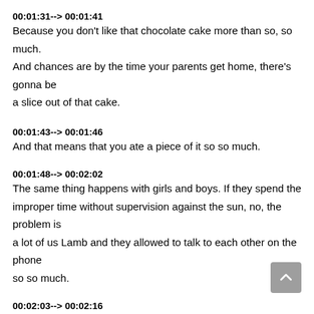00:01:31--> 00:01:41
Because you don't like that chocolate cake more than so, so much. And chances are by the time your parents get home, there's gonna be a slice out of that cake.
00:01:43--> 00:01:46
And that means that you ate a piece of it so so much.
00:01:48--> 00:02:02
The same thing happens with girls and boys. If they spend the improper time without supervision against the sun, no, the problem is a lot of us Lamb and they allowed to talk to each other on the phone so so much.
00:02:03--> 00:02:16